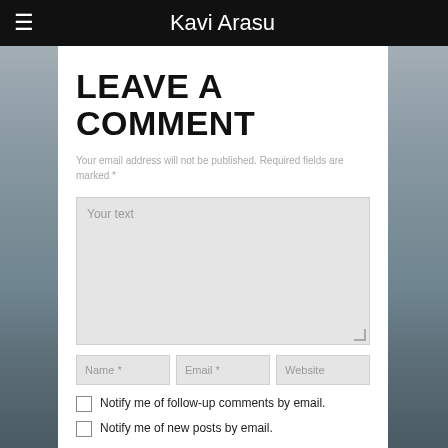Kavi Arasu
LEAVE A COMMENT
Your email address will not be published. Required fields are marked *
[Figure (screenshot): Comment text area input box with placeholder text 'Your text']
[Figure (screenshot): Three input fields: Name *, Email *, Website]
Notify me of follow-up comments by email.
Notify me of new posts by email.